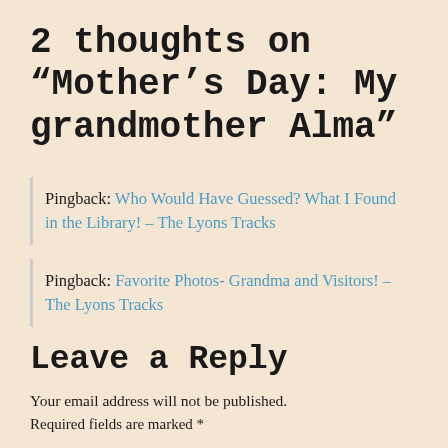2 thoughts on “Mother’s Day: My grandmother Alma”
Pingback: Who Would Have Guessed? What I Found in the Library! – The Lyons Tracks
Pingback: Favorite Photos- Grandma and Visitors! – The Lyons Tracks
Leave a Reply
Your email address will not be published.
Required fields are marked *